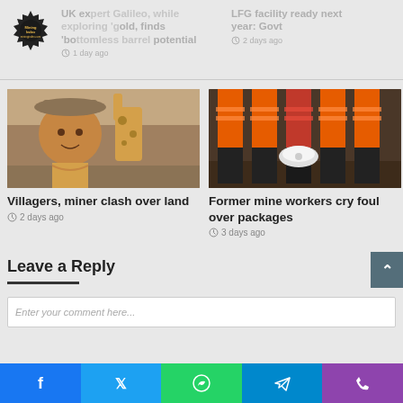[Figure (logo): Mining Index logo - gear/cog shape with text Mining Index inside]
UK expert Galileo, while exploring 'gold, finds 'bottomless barrel potential
LFG facility ready next year: Govt
1 day ago
2 days ago
[Figure (photo): A man taking a selfie outdoors with a giraffe visible behind him in a dry savanna landscape]
[Figure (photo): Close-up of mine workers' legs wearing orange and black rubber boots standing in mud]
Villagers, miner clash over land
2 days ago
Former mine workers cry foul over packages
3 days ago
Leave a Reply
Enter your comment here...